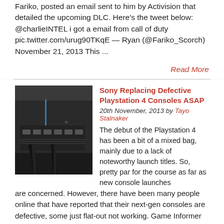Fariko, posted an email sent to him by Activision that detailed the upcoming DLC.  Here's the tweet below:    @charlieINTEL i got a email from call of duty pic.twitter.com/urug90TKqE — Ryan (@Fariko_Scorch) November 21, 2013   This ...
Read More
Sony Replacing Defective Playstation 4 Consoles ASAP
20th November, 2013 by Tayo Stalnaker
[Figure (photo): Close-up photo of the back ports of a PlayStation 4 console in dark/black color, with cables plugged in, against a white background.]
The debut of the Playstation 4 has been a bit of a mixed bag, mainly due to a lack of noteworthy launch titles. So, pretty par for the course as far as new console launches are concerned. However, there have been many people online that have reported that their next-gen consoles are defective, some just flat-out not working. Game Informer recently spoke Sony about these issues:  "There have been several issues reported, which leads us to believe there isn't ...
Read More